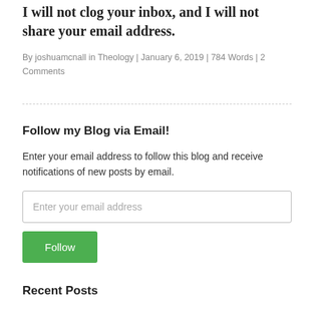I will not clog your inbox, and I will not share your email address.
By joshuamcnall in Theology | January 6, 2019 | 784 Words | 2 Comments
Follow my Blog via Email!
Enter your email address to follow this blog and receive notifications of new posts by email.
Recent Posts